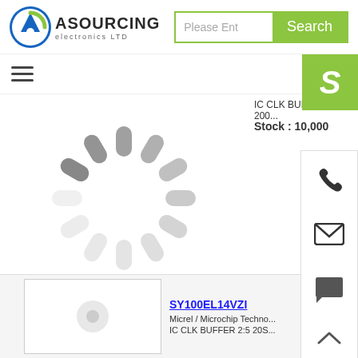[Figure (logo): Asourcing Electronics LTD logo with green/blue circular A icon and company name]
[Figure (screenshot): Search bar with placeholder text 'Please Ent' and green Search button]
[Figure (other): Hamburger menu icon (three horizontal lines)]
[Figure (other): Green Skype contact button with white S icon]
IC CLK BUFFER 2:5 200...
Stock : 10,000
[Figure (other): Loading spinner animation (gray radial dashes)]
[Figure (other): Phone icon in side contact panel]
[Figure (other): Email/envelope icon in side contact panel]
[Figure (other): Chat bubble icon in side contact panel]
[Figure (other): Up arrow caret icon in side contact panel]
SY100EL14VZI
Micrel / Microchip Techno...
IC CLK BUFFER 2:5 20S...